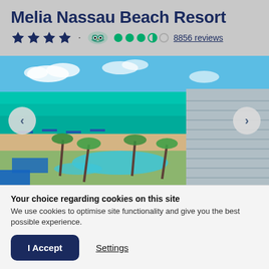Melia Nassau Beach Resort
★★★★ · TripAdvisor 3.5/5 8856 reviews
[Figure (photo): Aerial view of Melia Nassau Beach Resort showing the hotel building, pool area with palm trees, beach, and turquoise sea. Navigation arrows on left and right sides of the image.]
Your choice regarding cookies on this site
We use cookies to optimise site functionality and give you the best possible experience.
I Accept  Settings